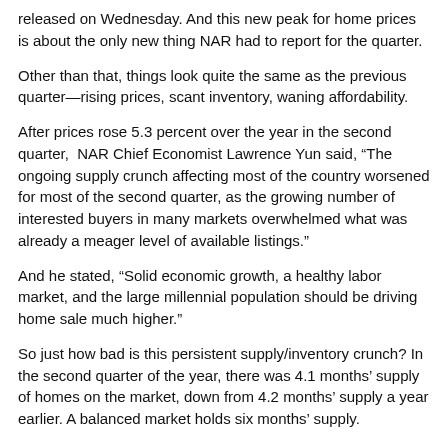released on Wednesday. And this new peak for home prices is about the only new thing NAR had to report for the quarter.
Other than that, things look quite the same as the previous quarter—rising prices, scant inventory, waning affordability.
After prices rose 5.3 percent over the year in the second quarter, NAR Chief Economist Lawrence Yun said, “The ongoing supply crunch affecting most of the country worsened for most of the second quarter, as the growing number of interested buyers in many markets overwhelmed what was already a meager level of available listings.”
And he stated, “Solid economic growth, a healthy labor market, and the large millennial population should be driving home sale much higher.”
So just how bad is this persistent supply/inventory crunch? In the second quarter of the year, there was 4.1 months’ supply of homes on the market, down from 4.2 months’ supply a year earlier. A balanced market holds six months’ supply.